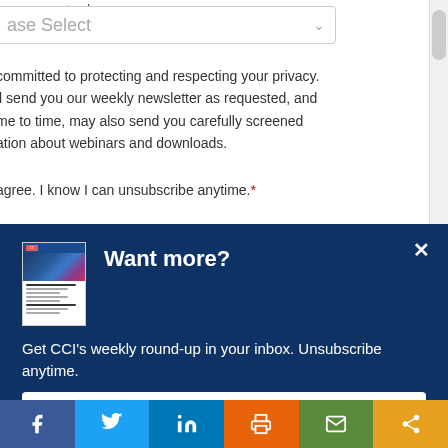your current role.
ase Select
committed to protecting and respecting your privacy. ll send you our weekly newsletter as requested, and me to time, may also send you carefully screened ation about webinars and downloads.
agree. I know I can unsubscribe anytime.*
[Figure (screenshot): Want more? popup modal with CCI newsletter thumbnail, text about weekly round-up, and Let's do this! button]
Want more?
Get CCI's weekly round-up in your inbox. Unsubscribe anytime.
Let's do this!
[Figure (infographic): Social sharing bar with Facebook, Twitter, LinkedIn, Print, Email, and Share buttons]